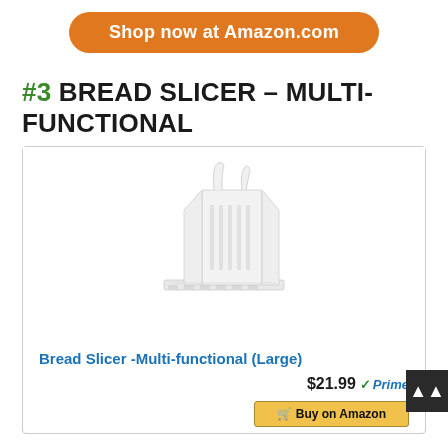[Figure (other): Orange rounded button reading 'Shop now at Amazon.com']
#3 BREAD SLICER – MULTI-FUNCTIONAL
[Figure (photo): White plastic bread slicer with multiple slotted guides and a folding base, product photo on white background]
Bread Slicer -Multi-functional (Large)
$21.99 √Prime
Buy on Amazon